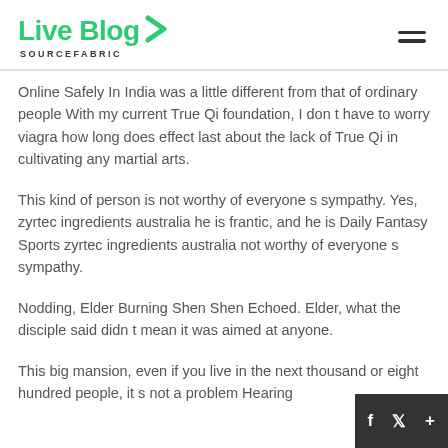Live Blog SOURCEFABRIC
Online Safely In India was a little different from that of ordinary people With my current True Qi foundation, I don t have to worry viagra how long does effect last about the lack of True Qi in cultivating any martial arts.
This kind of person is not worthy of everyone s sympathy. Yes, zyrtec ingredients australia he is frantic, and he is Daily Fantasy Sports zyrtec ingredients australia not worthy of everyone s sympathy.
Nodding, Elder Burning Shen Shen Echoed. Elder, what the disciple said didn t mean it was aimed at anyone.
This big mansion, even if you live in the next thousand or eight hundred people, it s not a problem Hearing